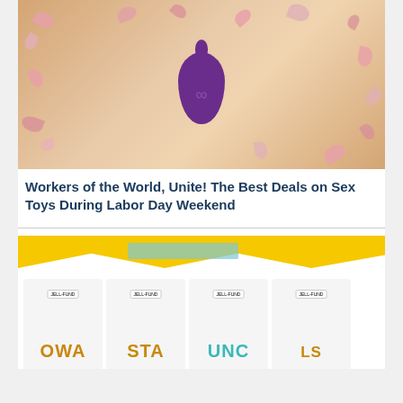[Figure (photo): Product photo of a purple suction sex toy on a wooden surface surrounded by scattered pink rose petals]
Workers of the World, Unite! The Best Deals on Sex Toys During Labor Day Weekend
[Figure (photo): Several white folded t-shirts with colorful sports team text (OWA, STA, UNC, LS) against a yellow and white graphic background]